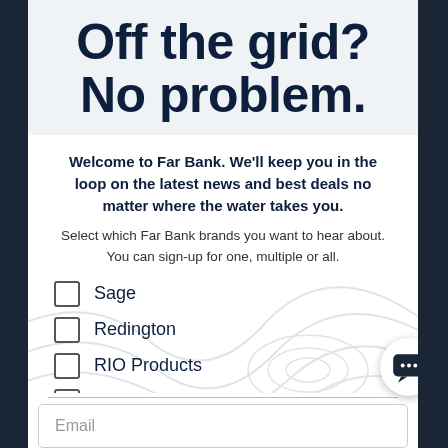Off the grid? No problem.
Welcome to Far Bank. We'll keep you in the loop on the latest news and best deals no matter where the water takes you.
Select which Far Bank brands you want to hear about. You can sign-up for one, multiple or all.
Sage
Redington
RIO Products
Fly Water Travel
Email